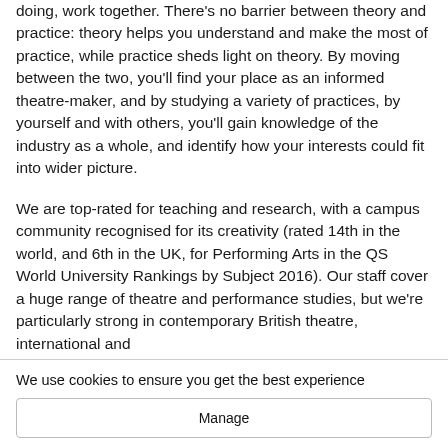doing, work together. There's no barrier between theory and practice: theory helps you understand and make the most of practice, while practice sheds light on theory. By moving between the two, you'll find your place as an informed theatre-maker, and by studying a variety of practices, by yourself and with others, you'll gain knowledge of the industry as a whole, and identify how your interests could fit into wider picture.
We are top-rated for teaching and research, with a campus community recognised for its creativity (rated 14th in the world, and 6th in the UK, for Performing Arts in the QS World University Rankings by Subject 2016). Our staff cover a huge range of theatre and performance studies, but we're particularly strong in contemporary British theatre, international and
We use cookies to ensure you get the best experience
Manage